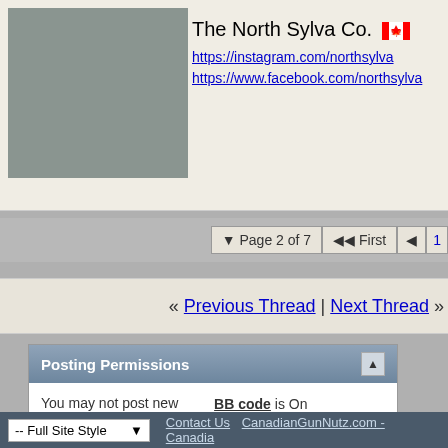The North Sylva Co. [CA flag]
https://instagram.com/northsylva
https://www.facebook.com/northsylva
▼ Page 2 of 7   ◀◀ First   ◀   1
« Previous Thread | Next Thread »
Posting Permissions
You may not post new threads
You may not post replies
You may not post attachments
You may not edit your posts
BB code is On
Smilies are On
[IMG] code is On
[VIDEO] code is On
HTML code is Off
Forum Rules
-- Full Site Style   Contact Us  CanadianGunNutz.com - Canadia